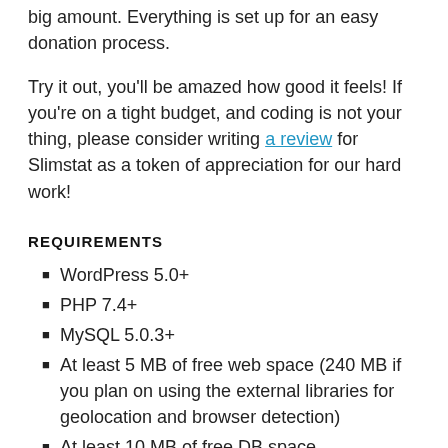big amount. Everything is set up for an easy donation process.
Try it out, you'll be amazed how good it feels! If you're on a tight budget, and coding is not your thing, please consider writing a review for Slimstat as a token of appreciation for our hard work!
REQUIREMENTS
WordPress 5.0+
PHP 7.4+
MySQL 5.0.3+
At least 5 MB of free web space (240 MB if you plan on using the external libraries for geolocation and browser detection)
At least 10 MB of free DB space
At least 32 Mb of free PHP memory for the tracker (peak memory usage)